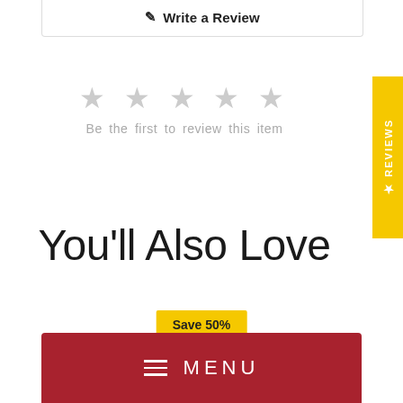✎ Write a Review
[Figure (other): Five empty grey star rating icons]
Be the first to review this item
You'll Also Love
Save 50%
☰ MENU